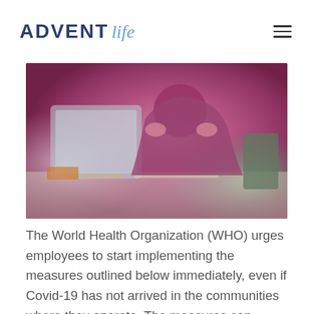ADVENT life
[Figure (photo): A person in a magenta/pink top sitting at a desk with a computer monitor, appearing stressed with hands near their head.]
The World Health Organization (WHO) urges employees to start implementing the measures outlined below immediately, even if Covid-19 has not arrived in the communities where they operate. The measures can reduce working days lost due to illness and stop or slow the spread of the virus if it affects your workplace.